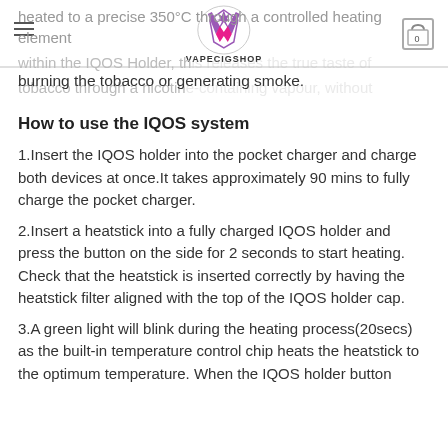VAPECIGSHOP
heated to a precise 350°C through a controlled heating element within the IQOS Holder, this releases the true taste of tobacco through a nicotine-containing vapour, without burning the tobacco or generating smoke.
How to use the IQOS system
1.Insert the IQOS holder into the pocket charger and charge both devices at once.It takes approximately 90 mins to fully charge the pocket charger.
2.Insert a heatstick into a fully charged IQOS holder and press the button on the side for 2 seconds to start heating. Check that the heatstick is inserted correctly by having the heatstick filter aligned with the top of the IQOS holder cap.
3.A green light will blink during the heating process(20secs) as the built-in temperature control chip heats the heatstick to the optimum temperature. When the IQOS holder button